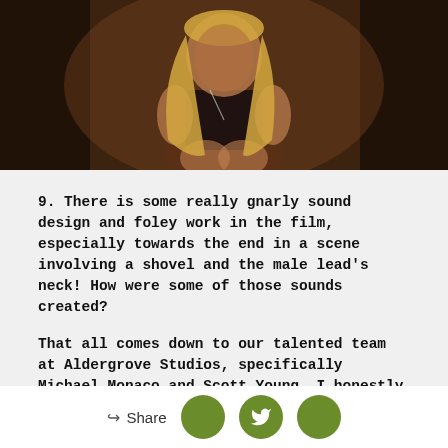[Figure (photo): A blonde woman sitting in a dark wooden interior, wearing a black top, dimly lit with warm tones]
9. There is some really gnarly sound design and foley work in the film, especially towards the end in a scene involving a shovel and the male lead's neck! How were some of those sounds created?
That all comes down to our talented team at Aldergrove Studios, specifically Michael Monaco and Scott Young. I honestly wasn't in
Share